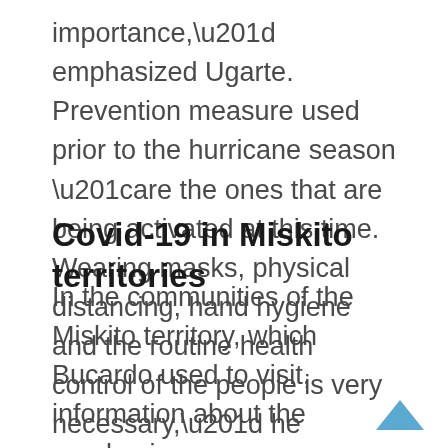importance,” emphasized Ugarte. Prevention measure used prior to the hurricane season “are the ones that are being activated at this time. Wearing masks, physical distancing, hand hygiene and the routine health control of the people is very necessary,” he stressed.
Covid-19 in Miskito territories
In the communities of the Miskito territory, which Bucardo used to visit, information about the pandemic was scarce. People learned about the coronavirus through the radio and the